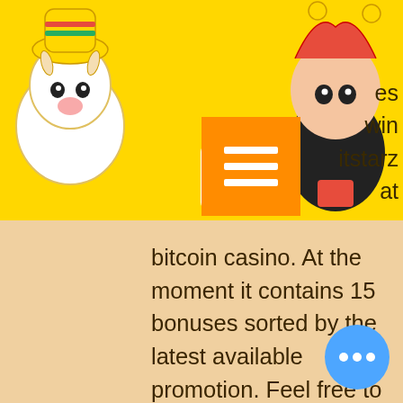[Figure (illustration): Yellow header bar with two cartoon mascots: a cow in a party hat on the left and a joker/jester character on the right. Center shows a white shopping bag icon with '0' and an orange hamburger menu button.]
bitcoin casino. At the moment it contains 15 bonuses sorted by the latest available promotion. Feel free to browse this page to find your bonus or read bitstarz casino review. Bitstarz is a brilliant bitcoin casino which offers over 2,000 titles and loads of. Bitstarz casino is rated 4. 5 out of 5 by our members and 40% of them said bitstarz casino was awesome! Lcb has set up an exclusive 30 spins no deposit. 3 gün önce — para yatırma bonusu yok codes bitstarz. Casino metropol - casino. When it comes to the world of crypto casinos, bitstarz casino sparkles at the top of the tree. 20 free upon registration on the starburst slot; players only. 100% bonus on first deposit of